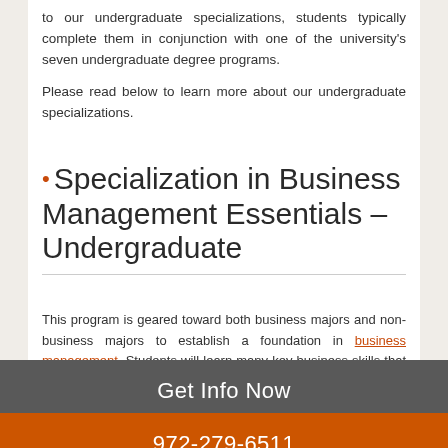to our undergraduate specializations, students typically complete them in conjunction with one of the university's seven undergraduate degree programs.
Please read below to learn more about our undergraduate specializations.
Specialization in Business Management Essentials – Undergraduate
This program is geared toward both business majors and non-business majors to establish a foundation in business management. Students will learn many key business skills that are transferable to many fields and jobs, including management skills, marketing strategies, accounting and
Get Info Now
972-279-6511
for any student enrolled in the program. You can earn the